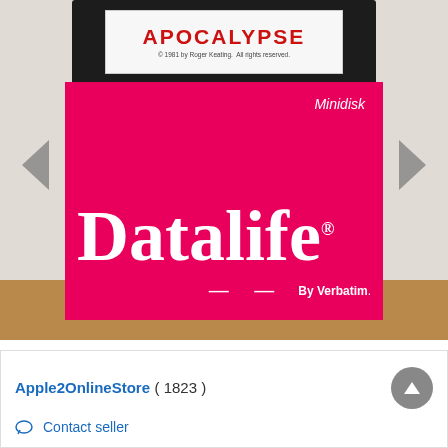[Figure (photo): Photo of two floppy disks on a wooden shelf. At the top is a black 5.25-inch floppy disk with a white label reading 'APOCALYPSE' in red and '© 1981 by Roger Keating. All rights reserved.' In the foreground is a magenta/pink Verbatim Datalife Minidisk floppy disk with large white 'Datalife' branding and 'By Verbatim.' text. Navigation arrows are visible on left and right sides.]
Apple2OnlineStore ( 1823 )
Contact seller